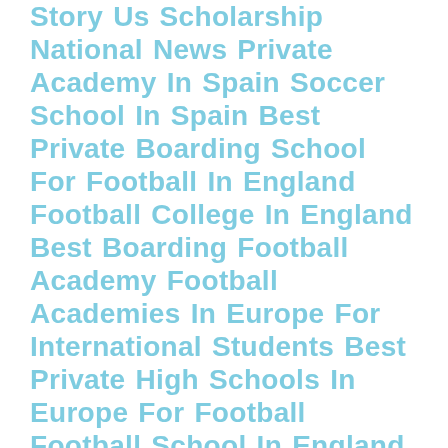Story Us Scholarship National News Private Academy In Spain Soccer School In Spain Best Private Boarding School For Football In England Football College In England Best Boarding Football Academy Football Academies In Europe For International Students Best Private High Schools In Europe For Football Football School In England Top Uk Football Schools For Football England's Top Universities How Do Boarding Schools In The Uk Work What's To Be Expected In Uk Private Boarding Schools Girls Football In Uk Best Boarding Schools For Girls Football Football Academies For Girls Private Boarding School Football Pathway Best Football Boarding Schools In The Uk Football Schools In England Football Schools In The Uk Europe's Best Football Academy National Team Call